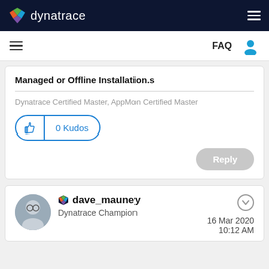dynatrace
FAQ
Managed or Offline Installation.s
Dynatrace Certified Master, AppMon Certified Master
0 Kudos
Reply
dave_mauney
Dynatrace Champion
16 Mar 2020 10:12 AM